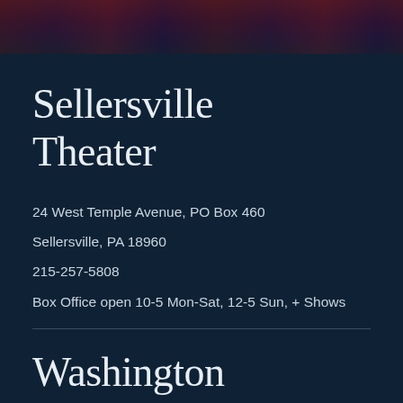[Figure (photo): Dark theatrical banner photo at top showing stage lights and audience/performers in red and purple tones]
Sellersville Theater
24 West Temple Avenue, PO Box 460
Sellersville, PA 18960
215-257-5808
Box Office open 10-5 Mon-Sat, 12-5 Sun, + Shows
Washington House